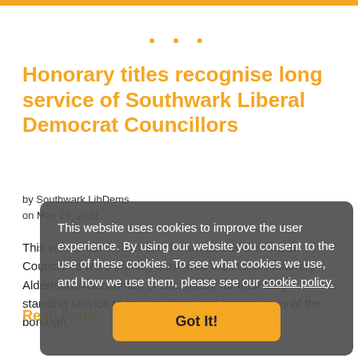Honorary titles recognise long service of Southwark Liberal Democrat Councillors
by Southwark LibDems
on May 26, 2021
This week, four former Southwark Liberal Democrat Councillors were proudly conferred the title of Honorary Alderman/Alderwoman of Southwark for their long-standing service to the residents and communities of the borough.
This website uses cookies to improve the user experience. By using our website you consent to the use of these cookies. To see what cookies we use, and how we use them, please see our cookie policy.
Got It!
Read more